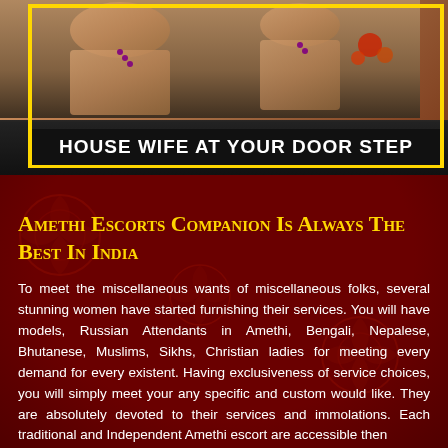[Figure (photo): Banner image showing a woman with text overlay 'HOUSE WIFE AT YOUR DOOR STEP' on a black bar with yellow border]
Amethi Escorts Companion Is Always The Best In India
To meet the miscellaneous wants of miscellaneous folks, several stunning women have started furnishing their services. You will have models, Russian Attendants in Amethi, Bengali, Nepalese, Bhutanese, Muslims, Sikhs, Christian ladies for meeting every demand for every existent. Having exclusiveness of service choices, you will simply meet your any specific and custom would like. They are absolutely devoted to their services and immolations. Each traditional and Independent Amethi escort are accessible then